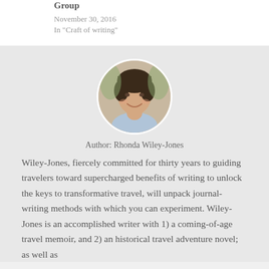Group
November 30, 2016
In "Craft of writing"
[Figure (photo): Circular profile photo of Rhonda Wiley-Jones, a woman with short dark hair, smiling, outdoors.]
Author: Rhonda Wiley-Jones
Wiley-Jones, fiercely committed for thirty years to guiding travelers toward supercharged benefits of writing to unlock the keys to transformative travel, will unpack journal-writing methods with which you can experiment. Wiley-Jones is an accomplished writer with 1) a coming-of-age travel memoir, and 2) an historical travel adventure novel; as well as